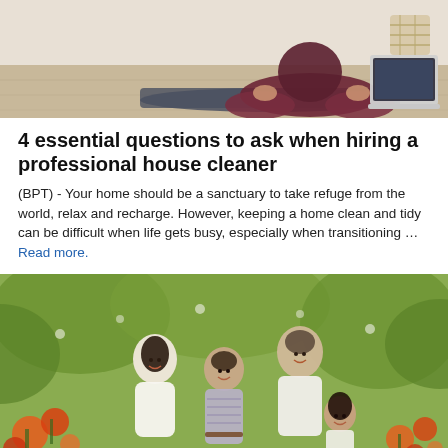[Figure (photo): Person sitting on a yoga mat on hardwood floor in front of a laptop, from waist down, wearing dark maroon pants]
4 essential questions to ask when hiring a professional house cleaner
(BPT) - Your home should be a sanctuary to take refuge from the world, relax and recharge. However, keeping a home clean and tidy can be difficult when life gets busy, especially when transitioning … Read more.
[Figure (photo): A smiling family of four posing outdoors in a garden with colorful flowers — a woman, a man, a teenage boy in the center, and a young girl — surrounded by greenery and orange and red roses]